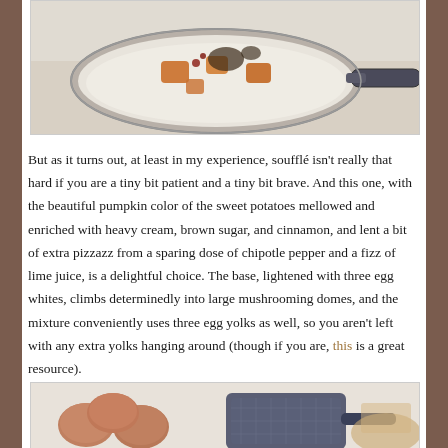[Figure (photo): Top-down view of a saucepan containing milk/cream with chunks of sweet potato, spices, and other ingredients on a light background.]
But as it turns out, at least in my experience, soufflé isn't really that hard if you are a tiny bit patient and a tiny bit brave. And this one, with the beautiful pumpkin color of the sweet potatoes mellowed and enriched with heavy cream, brown sugar, and cinnamon, and lent a bit of extra pizzazz from a sparing dose of chipotle pepper and a fizz of lime juice, is a delightful choice. The base, lightened with three egg whites, climbs determinedly into large mushrooming domes, and the mixture conveniently uses three egg yolks as well, so you aren't left with any extra yolks hanging around (though if you are, this is a great resource).
[Figure (photo): Brown eggs and a strainer/sieve with a saucepan visible in the background on a light surface.]